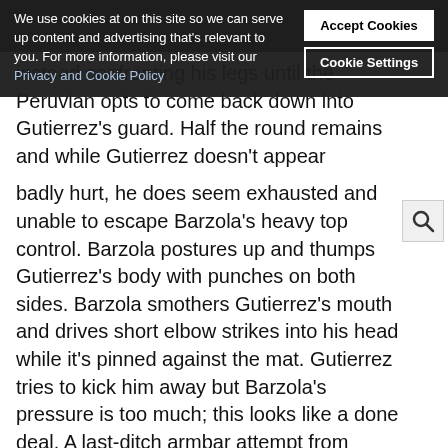Sherdog (header bar)
We use cookies at on this site so we can serve up content and advertising that's relevant to you. For more information, please visit our Privacy and Cookie Policy
Accept Cookies
Cookie Settings
instead confronting his legs until the Peruvian opts to come back down into Gutierrez's guard. Half the round remains and while Gutierrez doesn't appear badly hurt, he does seem exhausted and unable to escape Barzola's heavy top control. Barzola postures up and thumps Gutierrez's body with punches on both sides. Barzola smothers Gutierrez's mouth and drives short elbow strikes into his head while it's pinned against the mat. Gutierrez tries to kick him away but Barzola's pressure is too much; this looks like a done deal. A last-ditch armbar attempt from Gutierrez goes nowhere, and the lightweight winner of "TUF: Latin America" Season 2 will be decided by the judges.
Sherdog Scores